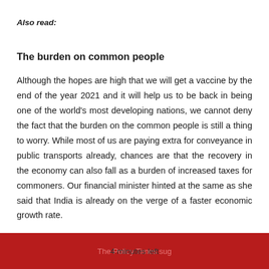Also read:
The burden on common people
Although the hopes are high that we will get a vaccine by the end of the year 2021 and it will help us to be back in being one of the world's most developing nations, we cannot deny the fact that the burden on the common people is still a thing to worry. While most of us are paying extra for conveyance in public transports already, chances are that the recovery in the economy can also fall as a burden of increased taxes for commoners. Our financial minister hinted at the same as she said that India is already on the verge of a faster economic growth rate.
The Policy Times sug... 4 minutes left